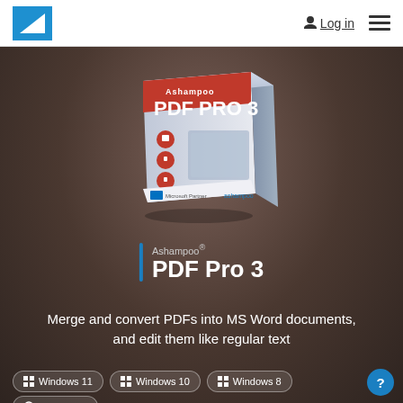Log in
[Figure (photo): Ashampoo PDF Pro 3 software box with keyboard in background]
Ashampoo® PDF Pro 3
Merge and convert PDFs into MS Word documents, and edit them like regular text
Windows 11
Windows 10
Windows 8
Windows 7